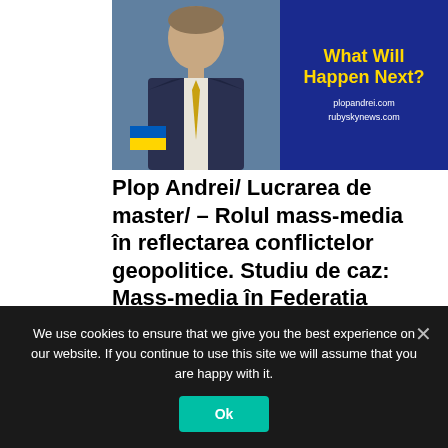[Figure (photo): Person in suit with Ukrainian flag badge on lapel, next to a blue promotional box with yellow text 'What Will Happen Next?' and URLs plopandrei.com and rubyskynews.com]
Plop Andrei/ Lucrarea de master/ – Rolul mass-media în reflectarea conflictelor geopolitice. Studiu de caz: Mass-media în Federația Rusă/
[Figure (photo): Plop Andrei banner with blue background, white bold text 'Pl... An...' and person photo on right]
We use cookies to ensure that we give you the best experience on our website. If you continue to use this site we will assume that you are happy with it.
Ok